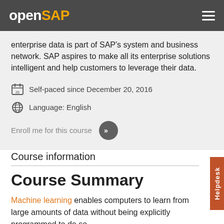openSAP
enterprise data is part of SAP's system and business network. SAP aspires to make all its enterprise solutions intelligent and help customers to leverage their data.
Self-paced since December 20, 2016
Language: English
Enroll me for this course
Course information
Course Summary
Machine learning enables computers to learn from large amounts of data without being explicitly programmed to do so.